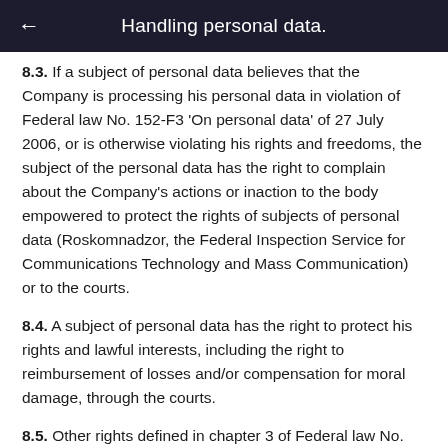Handling personal data.
8.3. If a subject of personal data believes that the Company is processing his personal data in violation of Federal law No. 152-F3 'On personal data' of 27 July 2006, or is otherwise violating his rights and freedoms, the subject of the personal data has the right to complain about the Company's actions or inaction to the body empowered to protect the rights of subjects of personal data (Roskomnadzor, the Federal Inspection Service for Communications Technology and Mass Communication) or to the courts.
8.4. A subject of personal data has the right to protect his rights and lawful interests, including the right to reimbursement of losses and/or compensation for moral damage, through the courts.
8.5. Other rights defined in chapter 3 of Federal law No. 152-F3 'On personal data' of 27 July 2006.